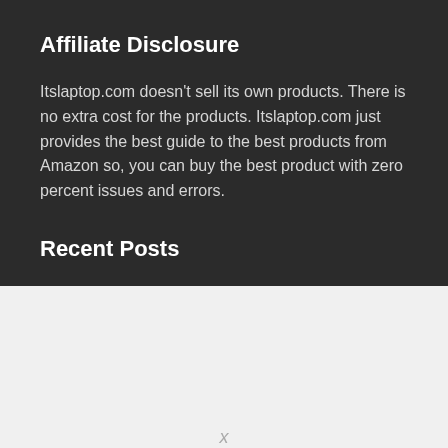Affiliate Disclosure
Itslaptop.com doesn’t sell its own products. There is no extra cost for the products. Itslaptop.com just provides the best guide to the best products from Amazon so, you can buy the best product with zero percent issues and errors.
Recent Posts